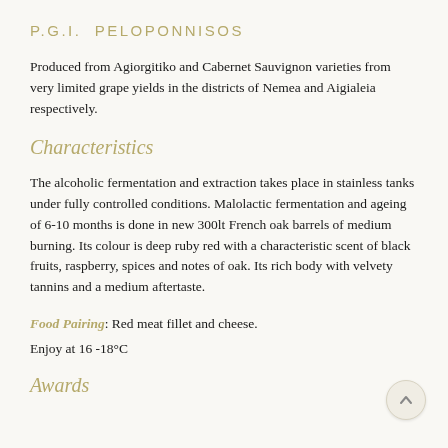P.G.I.  PELOPONNISOS
Produced from Agiorgitiko and Cabernet Sauvignon varieties from very limited grape yields in the districts of Nemea and Aigialeia respectively.
Characteristics
The alcoholic fermentation and extraction takes place in stainless tanks under fully controlled conditions. Malolactic fermentation and ageing of 6-10 months is done in new 300lt French oak barrels of medium burning. Its colour is deep ruby red with a characteristic scent of black fruits, raspberry, spices and notes of oak. Its rich body with velvety tannins and a medium aftertaste.
Food Pairing: Red meat fillet and cheese.
Enjoy at 16 -18°C
Awards